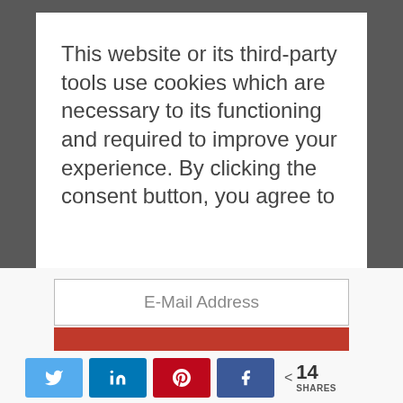This website or its third-party tools use cookies which are necessary to its functioning and required to improve your experience. By clicking the consent button, you agree to
of value to share with you.
E-Mail Address